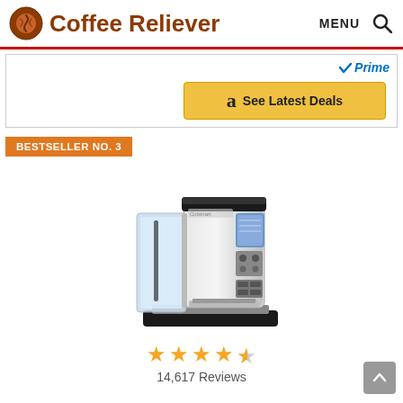Coffee Reliever — MENU (search icon)
[Figure (screenshot): Amazon Prime badge and 'See Latest Deals' button with Amazon logo on golden background]
BESTSELLER NO. 3
[Figure (photo): Cuisinart single-serve coffee maker, silver/stainless steel body with transparent water reservoir on the left side and blue LCD display panel on the right]
14,617 Reviews